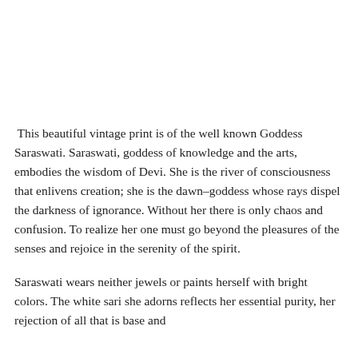This beautiful vintage print is of the well known Goddess Saraswati. Saraswati, goddess of knowledge and the arts, embodies the wisdom of Devi. She is the river of consciousness that enlivens creation; she is the dawn–goddess whose rays dispel the darkness of ignorance. Without her there is only chaos and confusion. To realize her one must go beyond the pleasures of the senses and rejoice in the serenity of the spirit.
Saraswati wears neither jewels or paints herself with bright colors. The white sari she adorns reflects her essential purity, her rejection of all that is base and